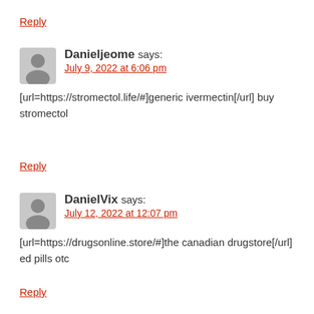Reply
Danieljeome says:
July 9, 2022 at 6:06 pm
[url=https://stromectol.life/#]generic ivermectin[/url] buy stromectol
Reply
DanielVix says:
July 12, 2022 at 12:07 pm
[url=https://drugsonline.store/#]the canadian drugstore[/url] ed pills otc
Reply